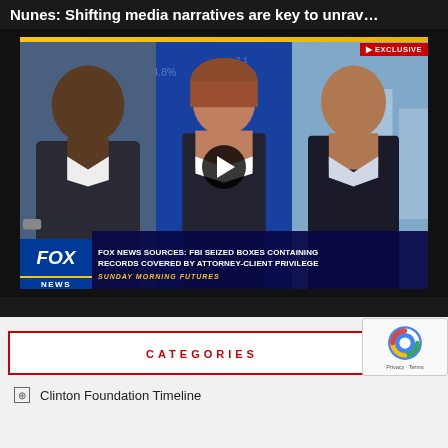Nunes: Shifting media narratives are key to unrav…
[Figure (screenshot): Fox News video screenshot showing three people on screen — a man on the left with dark complexion in a suit, a woman in the center (anchor/host), and a man on the right in a collared shirt. A play button overlay is visible in the center. Lower third reads: 'FOX NEWS SOURCES: FBI SEIZED BOXES CONTAINING RECORDS COVERED BY ATTORNEY-CLIENT PRIVILEGE / SUNDAY MORNING FUTURES'. EXCLUSIVE badge in upper right. Fox News Channel logo on lower left.]
CATEGORIES
Clinton Foundation Timeline